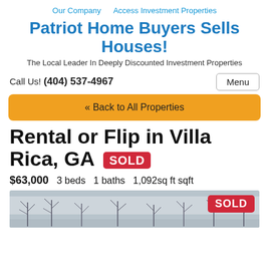Our Company   Access Investment Properties
Patriot Home Buyers Sells Houses!
The Local Leader In Deeply Discounted Investment Properties
Call Us! (404) 537-4967
« Back to All Properties
Rental or Flip in Villa Rica, GA SOLD
$63,000  3 beds  1 baths  1,092sq ft sqft
[Figure (photo): Winter exterior photo of property with bare trees and snow, SOLD badge overlay in top right]